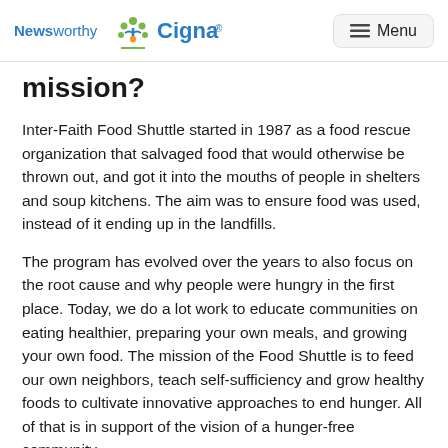Newsworthy | Cigna | Menu
mission?
Inter-Faith Food Shuttle started in 1987 as a food rescue organization that salvaged food that would otherwise be thrown out, and got it into the mouths of people in shelters and soup kitchens. The aim was to ensure food was used, instead of it ending up in the landfills.
The program has evolved over the years to also focus on the root cause and why people were hungry in the first place. Today, we do a lot work to educate communities on eating healthier, preparing your own meals, and growing your own food. The mission of the Food Shuttle is to feed our own neighbors, teach self-sufficiency and grow healthy foods to cultivate innovative approaches to end hunger. All of that is in support of the vision of a hunger-free community.